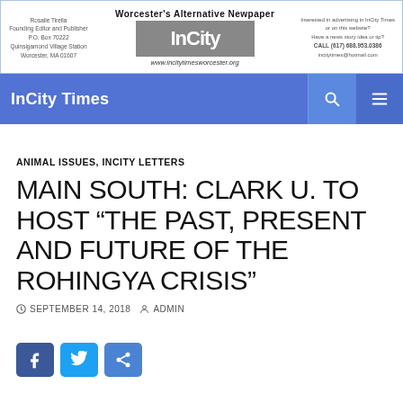[Figure (logo): InCity Times newspaper banner with logo, 'Worcester's Alternative Newpaper' heading, contact info on left and right, and website URL www.incitytimesworcester.org]
InCity Times
ANIMAL ISSUES, INCITY LETTERS
MAIN SOUTH: CLARK U. TO HOST “THE PAST, PRESENT AND FUTURE OF THE ROHINGYA CRISIS”
SEPTEMBER 14, 2018   ADMIN